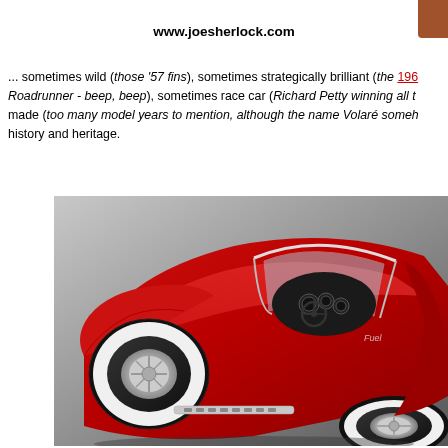www.joesherlock.com
... sometimes wild (those '57 fins), sometimes strategically brilliant (the 196... Roadrunner - beep, beep), sometimes race car (Richard Petty winning all t... made (too many model years to mention, although the name Volaré someh... history and heritage.
[Figure (photo): Classic red Corvette roadster, top-down angled view showing the front hood, cockpit with steering wheel and instruments, chrome details, whitewall tires, and windscreen. Car is photographed against a gray gradient background.]